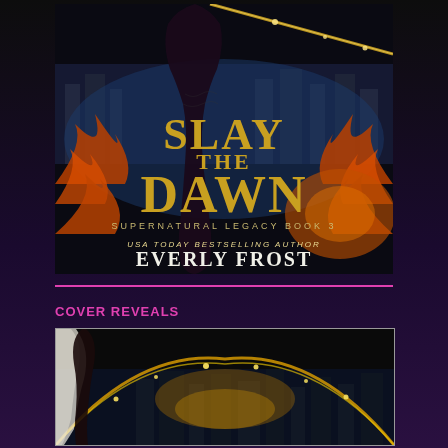[Figure (illustration): Book cover for 'Slay the Dawn' - Supernatural Legacy Book 3 by USA Today Bestselling Author Everly Frost. Shows a woman in dark clothing holding a weapon with fire and city skyline in the background. Gold and black title text.]
COVER REVEALS
[Figure (illustration): Partial book cover image showing golden magical energy, city skyline at night, and a figure with a white wing or garment.]